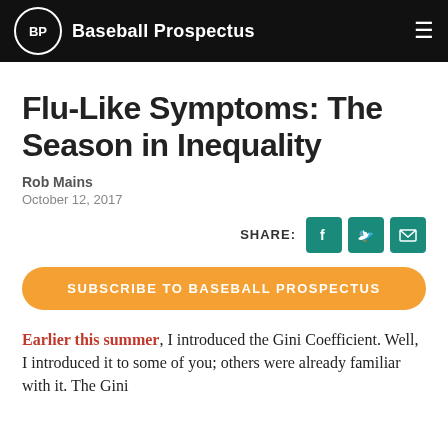Baseball Prospectus
Flu-Like Symptoms: The Season in Inequality
Rob Mains
October 12, 2017
SHARE:
SUBSCRIBE TO BASEBALL PROSPECTUS
Earlier this summer, I introduced the Gini Coefficient. Well, I introduced it to some of you; others were already familiar with it. The Gini